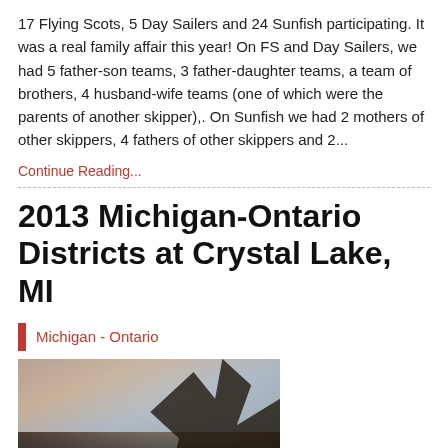17 Flying Scots, 5 Day Sailers and 24 Sunfish participating.   It was a real family affair this year!  On FS and Day Sailers, we had 5 father-son teams, 3 father-daughter teams, a team of brothers, 4 husband-wife teams (one of which were the parents of another skipper),.   On Sunfish we had 2 mothers of other skippers, 4 fathers of other skippers and 2...
Continue Reading...
2013 Michigan-Ontario Districts at Crystal Lake, MI
Michigan - Ontario
[Figure (photo): Outdoor photograph showing a sunset or dusk sky with pink and grey clouds, and a dark tree silhouette on the right side of the image.]